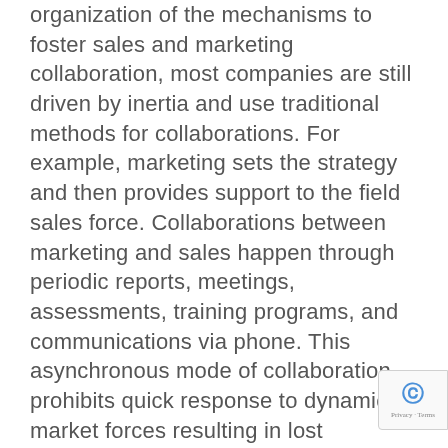organization of the mechanisms to foster sales and marketing collaboration, most companies are still driven by inertia and use traditional methods for collaborations. For example, marketing sets the strategy and then provides support to the field sales force. Collaborations between marketing and sales happen through periodic reports, meetings, assessments, training programs, and communications via phone. This asynchronous mode of collaboration prohibits quick response to dynamic market forces resulting in lost opportunities and delayed market intelligence. Availability of new technologies has revolutionized the traditional view of sales enablement tools. Platforms such as the ones offered by Bsharp, can facilitate close collaboration not only between the field sales personnel but also between the field sales personnel and the sales and marketing managers. In addition, such platforms offer tremendous advantages in terms of gamification